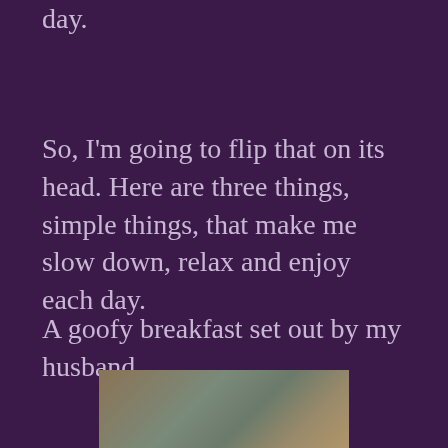day.
So, I'm going to flip that on its head. Here are three things, simple things, that make me slow down, relax and enjoy each day.
A goofy breakfast set out by my husband.
[Figure (photo): A close-up photo of what appears to be a textured surface, partially visible at the bottom of the page, with warm brown, grey and golden tones.]